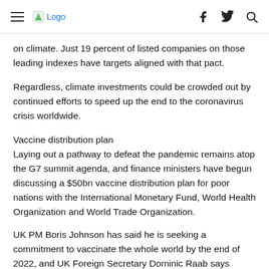≡ Logo | f  🐦  🔍
on climate. Just 19 percent of listed companies on those leading indexes have targets aligned with that pact.
Regardless, climate investments could be crowded out by continued efforts to speed up the end to the coronavirus crisis worldwide.
Vaccine distribution plan
Laying out a pathway to defeat the pandemic remains atop the G7 summit agenda, and finance ministers have begun discussing a $50bn vaccine distribution plan for poor nations with the International Monetary Fund, World Health Organization and World Trade Organization.
UK PM Boris Johnson has said he is seeking a commitment to vaccinate the whole world by the end of 2022, and UK Foreign Secretary Dominic Raab says equitable access to